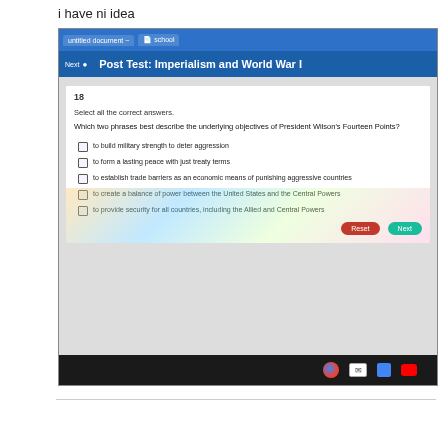i have ni idea
[Figure (screenshot): Screenshot of a Chromebook browser showing a quiz titled 'Post Test: Imperialism and World War I'. Question 18 asks: 'Select all the correct answers. Which two phrases best describe the underlying objectives of President Wilson's Fourteen Points?' with five checkbox answer choices: 'to build military strength to deter aggression', 'to form a lasting peace with just treaty terms', 'to establish trade barriers as an economic means of punishing aggressive countries', 'to create a balance of power between the United States and the Central Powers', 'to provide security for all countries, including the Allied and Central Powers'. Reset and Next buttons appear at the bottom right.]